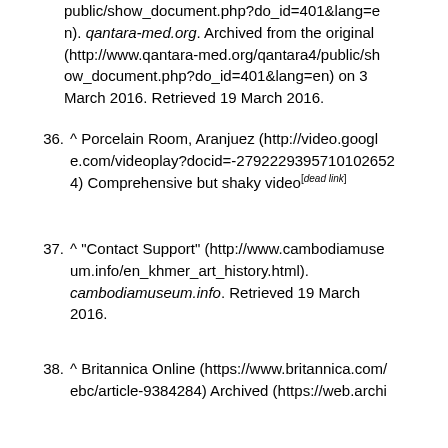public/show_document.php?do_id=401&lang=en). qantara-med.org. Archived from the original (http://www.qantara-med.org/qantara4/public/show_document.php?do_id=401&lang=en) on 3 March 2016. Retrieved 19 March 2016.
36. ^ Porcelain Room, Aranjuez (http://video.google.com/videoplay?docid=-2792293957101026524) Comprehensive but shaky video[dead link]
37. ^ "Contact Support" (http://www.cambodiamuseum.info/en_khmer_art_history.html). cambodiamuseum.info. Retrieved 19 March 2016.
38. ^ Britannica Online (https://www.britannica.com/ebc/article-9384284) Archived (https://web.archive.org/web/20071222081231/https://www.britannica.com/ebc/article-9384284) 22 December 2007 at the Wayback Machine
39. ^ He Li. (1996). Chinese Ceramics: The New...